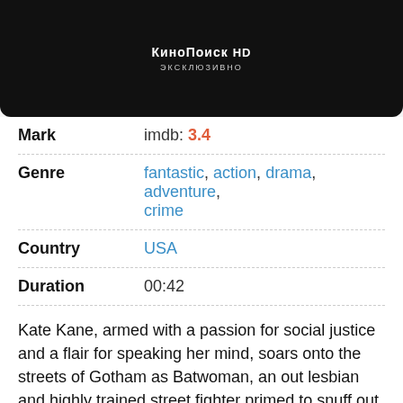[Figure (screenshot): Dark movie thumbnail with КиноПоиск HD logo and subtitle text in white on black background]
| Mark | imdb: 3.4 |
| Genre | fantastic, action, drama, adventure, crime |
| Country | USA |
| Duration | 00:42 |
Kate Kane, armed with a passion for social justice and a flair for speaking her mind, soars onto the streets of Gotham as Batwoman, an out lesbian and highly trained street fighter primed to snuff out the failing city's criminal resurgence. But don't call her a hero yet. In a city desperate for a savior, Kate must overcome her own demons before embracing the call to be Gotham's symbol of hope